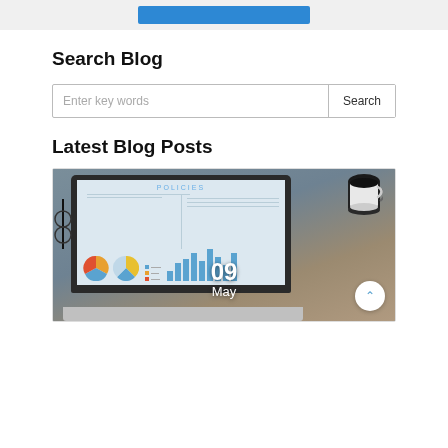[Figure (screenshot): Blue button at the top of the page within a gray bar]
Search Blog
[Figure (screenshot): Search input field with placeholder 'Enter key words' and a Search button]
Latest Blog Posts
[Figure (photo): Photo of a laptop showing a POLICIES dashboard with pie charts and bar charts, on a desk with coffee cup and notebook. Date overlay shows '09 May'.]